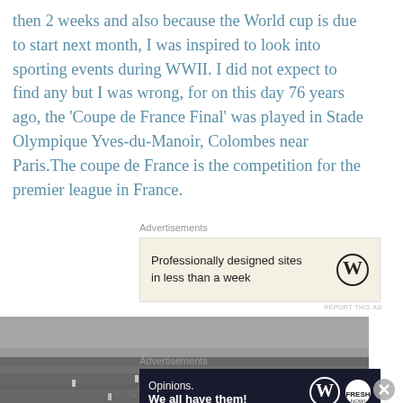then 2 weeks and also because the World cup is due to start next month, I was inspired to look into sporting events during WWII. I did not expect to find any but I was wrong, for on this day 76 years ago, the ‘Coupe de France Final’ was played in Stade Olympique Yves-du-Manoir, Colombes near Paris.The coupe de France is the competition for the premier league in France.
Advertisements
[Figure (other): WordPress advertisement: Professionally designed sites in less than a week]
[Figure (photo): Black and white photograph of a football match with large crowd in stadium]
Advertisements
[Figure (other): WordPress advertisement on dark background: Opinions. We all have them!]